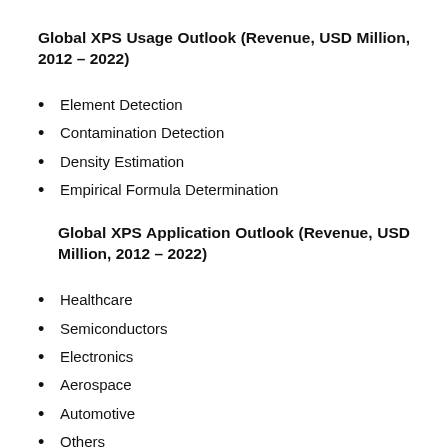Global XPS Usage Outlook (Revenue, USD Million, 2012 – 2022)
Element Detection
Contamination Detection
Density Estimation
Empirical Formula Determination
Global XPS Application Outlook (Revenue, USD Million, 2012 – 2022)
Healthcare
Semiconductors
Electronics
Aerospace
Automotive
Others
Global XPS Healthcare Application Outlook (Revenue,